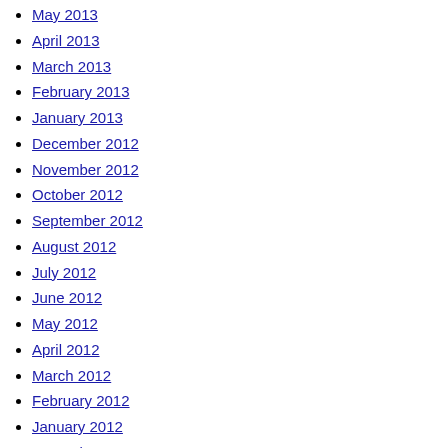May 2013
April 2013
March 2013
February 2013
January 2013
December 2012
November 2012
October 2012
September 2012
August 2012
July 2012
June 2012
May 2012
April 2012
March 2012
February 2012
January 2012
December 2011
November 2011
October 2011